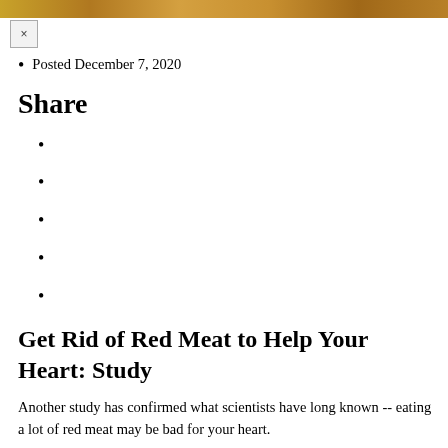[Figure (photo): Partial photo strip at top of page showing food (likely red meat)]
Posted December 7, 2020
Share
Get Rid of Red Meat to Help Your Heart: Study
Another study has confirmed what scientists have long known -- eating a lot of red meat may be bad for your heart.
On the other hand, opting for plant-based proteins instead of ordering a steak may boost your cardiovascular health.
In a new study, researchers followed more than 40,000 men in the United States over a 30-year period. The investigators looked at